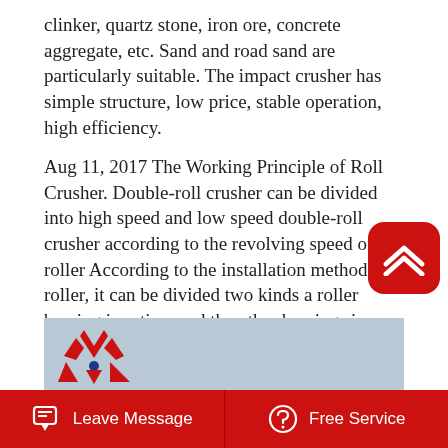clinker, quartz stone, iron ore, concrete aggregate, etc. Sand and road sand are particularly suitable. The impact crusher has simple structure, low price, stable operation, high efficiency.
Aug 11, 2017 The Working Principle of Roll Crusher. Double-roll crusher can be divided into high speed and low speed double-roll crusher according to the revolving speed of roller According to the installation methods of roller, it can be divided two kinds a roller bearing is active, and the other bearings is fixed and two roller bearings are active.
Read More →
[Figure (photo): Image area with a logo featuring red chevron/triangle shapes above a blue dot on a light blue/grey background]
Leave Message   Free Service